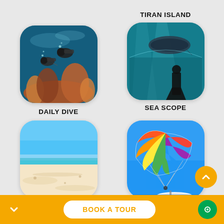[Figure (photo): Two scuba divers swimming among coral reef underwater - Daily Dive]
DAILY DIVE
TIRAN ISLAND
[Figure (photo): Person standing in underwater tunnel aquarium with manta ray - Tiran Island / Sea Scope]
SEA SCOPE
[Figure (photo): White sandy beach with clear blue sky - Giftun Island]
GIFTUN ISLAND
[Figure (photo): Colorful parasail parachute flying over blue sea with boat below]
BOOK A TOUR